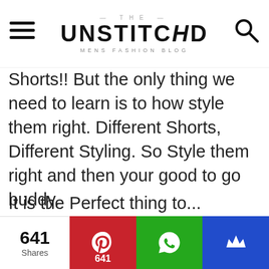THE UNSTITCHED — MENS FASHION BLOG
Shorts!! But the only thing we need to learn is to how style them right. Different Shorts, Different Styling. So Style them right and then your good to go buddy.
Shorts are so so comfortable! On days when you are just hanging around, partying somewhere on the yacht or chilling at home, shorts are surely the go to option. Plain, Floral, Striped and Plaid like there is a variety to choose from.
It is the Perfect thing to...
641 Shares | Pinterest 641 | WhatsApp | Crown